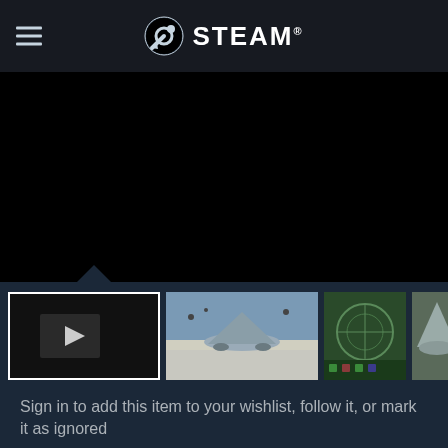STEAM
[Figure (screenshot): Black video player area with thumbnail strip below showing: selected video thumbnail with play button, fighter jet screenshot, cockpit view screenshot, partial jet screenshot]
Sign in to add this item to your wishlist, follow it, or mark it as ignored
[Figure (other): Two action buttons: share button and flag button]